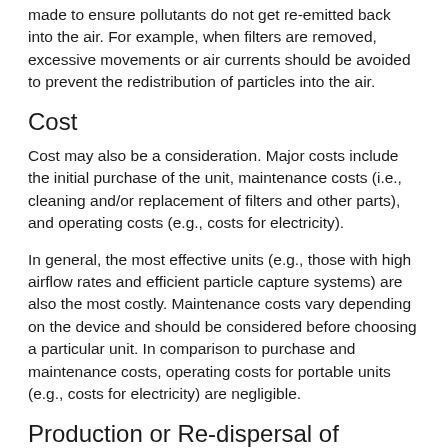made to ensure pollutants do not get re-emitted back into the air. For example, when filters are removed, excessive movements or air currents should be avoided to prevent the redistribution of particles into the air.
Cost
Cost may also be a consideration. Major costs include the initial purchase of the unit, maintenance costs (i.e., cleaning and/or replacement of filters and other parts), and operating costs (e.g., costs for electricity).
In general, the most effective units (e.g., those with high airflow rates and efficient particle capture systems) are also the most costly. Maintenance costs vary depending on the device and should be considered before choosing a particular unit. In comparison to purchase and maintenance costs, operating costs for portable units (e.g., costs for electricity) are negligible.
Production or Re-dispersal of Pollutants